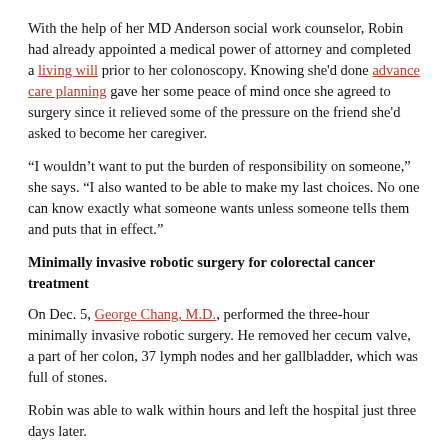With the help of her MD Anderson social work counselor, Robin had already appointed a medical power of attorney and completed a living will prior to her colonoscopy. Knowing she'd done advance care planning gave her some peace of mind once she agreed to surgery since it relieved some of the pressure on the friend she'd asked to become her caregiver.
“I wouldn’t want to put the burden of responsibility on someone,” she says. “I also wanted to be able to make my last choices. No one can know exactly what someone wants unless someone tells them and puts that in effect.”
Minimally invasive robotic surgery for colorectal cancer treatment
On Dec. 5, George Chang, M.D., performed the three-hour minimally invasive robotic surgery. He removed her cecum valve, a part of her colon, 37 lymph nodes and her gallbladder, which was full of stones.
Robin was able to walk within hours and left the hospital just three days later.
“It was the most painless surgery that I’ve ever had. I’ve had tooth extractions that gave me more pain,” she says. “Dr. Chang